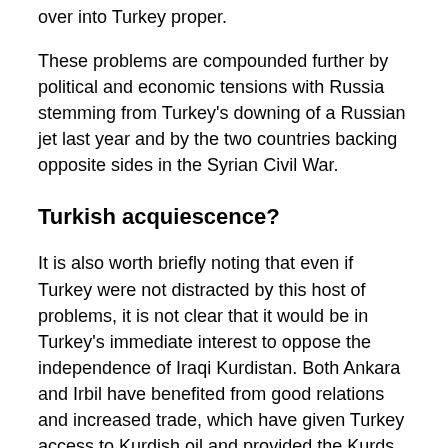over into Turkey proper.
These problems are compounded further by political and economic tensions with Russia stemming from Turkey's downing of a Russian jet last year and by the two countries backing opposite sides in the Syrian Civil War.
Turkish acquiescence?
It is also worth briefly noting that even if Turkey were not distracted by this host of problems, it is not clear that it would be in Turkey's immediate interest to oppose the independence of Iraqi Kurdistan. Both Ankara and Irbil have benefited from good relations and increased trade, which have given Turkey access to Kurdish oil and provided the Kurds with a source of income independent from Baghdad.
There were even signs during last year's election that Turkish President Recep Tayyip Erdoğan...